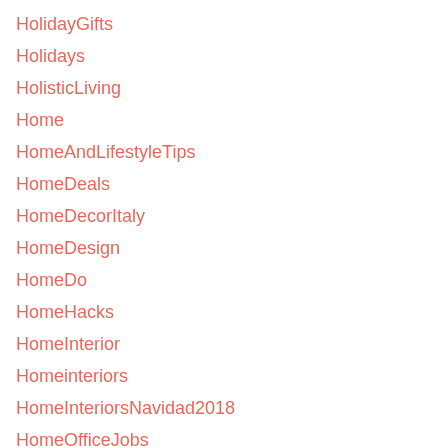HolidayGifts
Holidays
HolisticLiving
Home
HomeAndLifestyleTips
HomeDeals
HomeDecorItaly
HomeDesign
HomeDo
HomeHacks
HomeInterior
Homeinteriors
HomeInteriorsNavidad2018
HomeOfficeJobs
HomepageFeatured